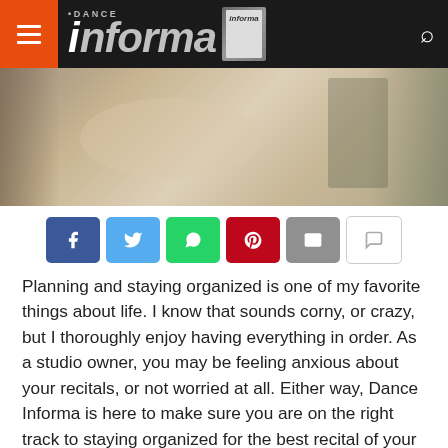[Figure (screenshot): Dance Informa magazine website header with orange hamburger menu, logo, magazine thumbnail, and search icon on dark background]
[Figure (photo): Hero photo of a person writing at a desk with a coffee cup, books, and plant in the background]
[Figure (infographic): Row of social share buttons: Facebook (blue), Twitter (light blue), WhatsApp (green), Pinterest (red), Email (grey), Comment (white/grey)]
Planning and staying organized is one of my favorite things about life. I know that sounds corny, or crazy, but I thoroughly enjoy having everything in order. As a studio owner, you may be feeling anxious about your recitals, or not worried at all. Either way, Dance Informa is here to make sure you are on the right track to staying organized for the best recital of your studio yet! Here are eight items to think about now when it comes to planning your studio's next recital.